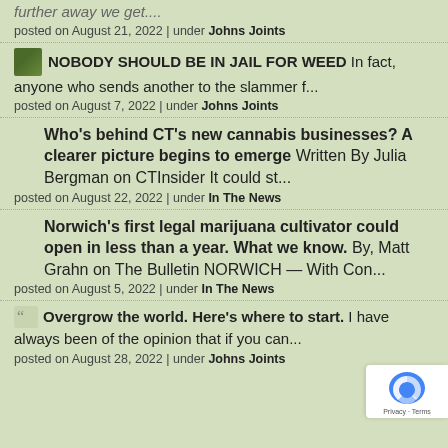further away we get....
posted on August 21, 2022 | under Johns Joints
NOBODY SHOULD BE IN JAIL FOR WEED In fact, anyone who sends another to the slammer f...
posted on August 7, 2022 | under Johns Joints
Who's behind CT's new cannabis businesses? A clearer picture begins to emerge Written By Julia Bergman on CTInsider It could st...
posted on August 22, 2022 | under In The News
Norwich's first legal marijuana cultivator could open in less than a year. What we know. By, Matt Grahn on The Bulletin NORWICH — With Con...
posted on August 5, 2022 | under In The News
Overgrow the world. Here's where to start. I have always been of the opinion that if you can...
posted on August 28, 2022 | under Johns Joints